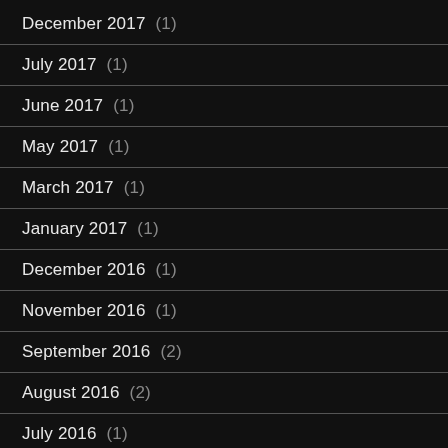December 2017 (1)
July 2017 (1)
June 2017 (1)
May 2017 (1)
March 2017 (1)
January 2017 (1)
December 2016 (1)
November 2016 (1)
September 2016 (2)
August 2016 (2)
July 2016 (1)
June 2016 (1)